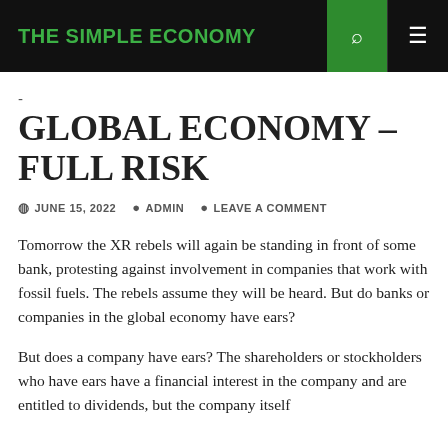THE SIMPLE ECONOMY
-
GLOBAL ECONOMY – FULL RISK
JUNE 15, 2022  ADMIN  LEAVE A COMMENT
Tomorrow the XR rebels will again be standing in front of some bank, protesting against involvement in companies that work with fossil fuels. The rebels assume they will be heard. But do banks or companies in the global economy have ears?
But does a company have ears? The shareholders or stockholders who have ears have a financial interest in the company and are entitled to dividends, but the company itself